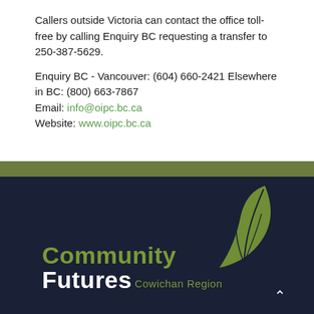Callers outside Victoria can contact the office toll-free by calling Enquiry BC requesting a transfer to 250-387-5629.
Enquiry BC - Vancouver: (604) 660-2421 Elsewhere in BC: (800) 663-7867
Email: info@oipc.bc.ca
Website: www.oipc.bc.ca
[Figure (logo): Community Futures Cowichan Region logo with stylized leaf/plant graphic on dark navy background]